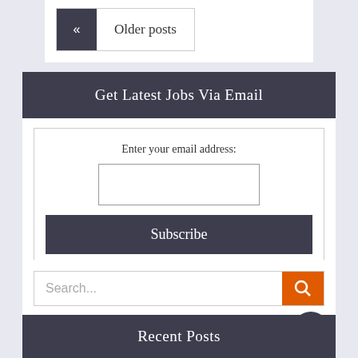« Older posts
Get Latest Jobs Via Email
Enter your email address:
Subscribe
Delivered by Gblcareers
Search...
Recent Posts